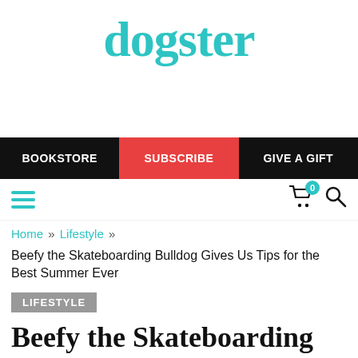dogster
BOOKSTORE | SUBSCRIBE | GIVE A GIFT
Home » Lifestyle »
Beefy the Skateboarding Bulldog Gives Us Tips for the Best Summer Ever
LIFESTYLE
Beefy the Skateboarding